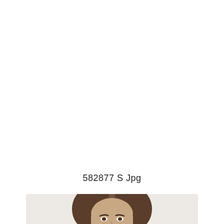582877 S Jpg
[Figure (photo): Partial photo of a person with brown hair, showing the top of their head and face from approximately the nose up, against a light grey/white background.]